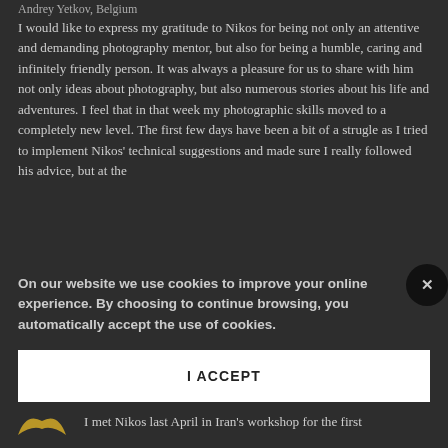Andrey Yetkov, Belgium
I would like to express my gratitude to Nikos for being not only an attentive and demanding photography mentor, but also for being a humble, caring and infinitely friendly person. It was always a pleasure for us to share with him not only ideas about photography, but also numerous stories about his life and adventures. I feel that in that week my photographic skills moved to a completely new level. The first few days have been a bit of a strugle as I tried to implement Nikos' technical suggestions and made sure I really followed his advice, but at the
On our website we use cookies to improve your online experience. By choosing to continue browsing, you automatically accept the use of cookies.
I ACCEPT
I met Nikos last April in Iran's workshop for the first